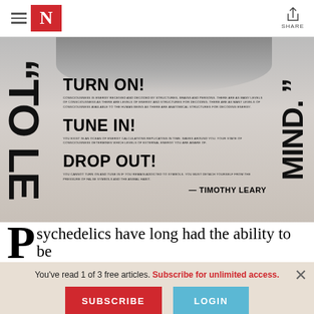The Nation – SHARE
[Figure (photo): Black and white magazine spread featuring Timothy Leary quote with 'TO LE MIND.' rotated text on sides, and bold headings: TURN ON!, TUNE IN!, DROP OUT! with descriptive small text and — TIMOTHY LEARY attribution]
Psychedelics have long had the ability to be
You've read 1 of 3 free articles. Subscribe for unlimited access.
SUBSCRIBE
LOGIN
Click here for more information.